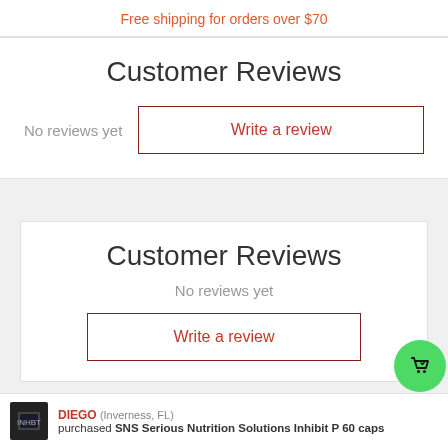Free shipping for orders over $70
Customer Reviews
No reviews yet
Write a review
Customer Reviews
No reviews yet
Write a review
DIEGO (Inverness, FL) purchased SNS Serious Nutrition Solutions Inhibit P 60 caps